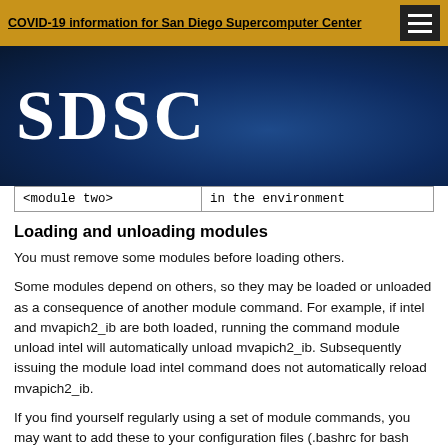COVID-19 information for San Diego Supercomputer Center
[Figure (logo): SDSC logo on dark navy blue background]
| <module two> | in the environment |
Loading and unloading modules
You must remove some modules before loading others.
Some modules depend on others, so they may be loaded or unloaded as a consequence of another module command. For example, if intel and mvapich2_ib are both loaded, running the command module unload intel will automatically unload mvapich2_ib. Subsequently issuing the module load intel command does not automatically reload mvapich2_ib.
If you find yourself regularly using a set of module commands, you may want to add these to your configuration files (.bashrc for bash